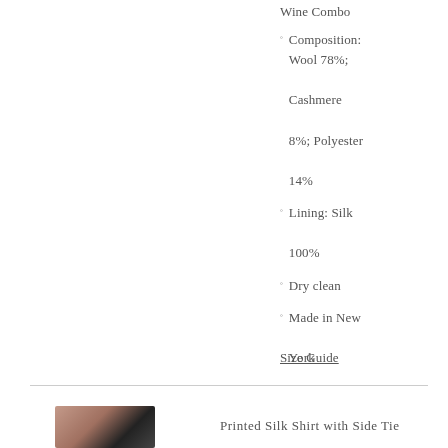Wine Combo
Composition: Wool 78%; Cashmere 8%; Polyester 14%
Lining: Silk 100%
Dry clean
Made in New York
Size Guide
[Figure (photo): Product thumbnail photo of a printed silk shirt]
Printed Silk Shirt with Side Tie